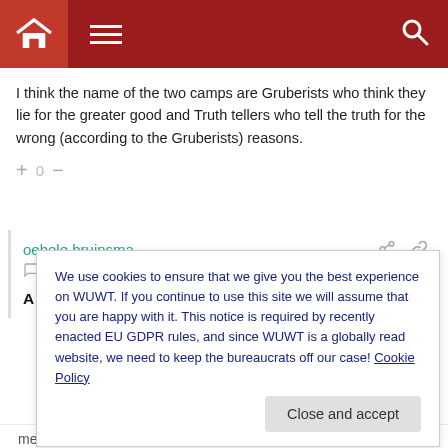WUWT website header navigation bar
I think the name of the two camps are Gruberists who think they lie for the greater good and Truth tellers who tell the truth for the wrong (according to the Gruberists) reasons.
+ 0 -
oebele bruinsma
Reply to edward   November 16, 2014 8:56 am
A fine and apparently necessary addition. Bravo.
We use cookies to ensure that we give you the best experience on WUWT. If you continue to use this site we will assume that you are happy with it. This notice is required by recently enacted EU GDPR rules, and since WUWT is a globally read website, we need to keep the bureaucrats off our case! Cookie Policy
Close and accept
meaning is different depending on your core beliefs, it